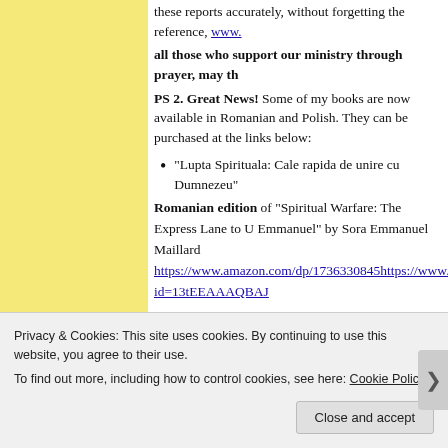these reports accurately, without forgetting the reference, www.
all those who support our ministry through prayer, may th
PS 2. Great News! Some of my books are now available in Romanian and Polish. They can be purchased at the links below:
"Lupta Spirituala: Cale rapida de unire cu Dumnezeu"
Romanian edition of "Spiritual Warfare: The Express Lane to U Emmanuel" by Sora Emmanuel Maillard https://www.amazon.com/dp/1736330845https://www. id=13tEEAAAQBAJ
Ruženec: "Cesta, ktorá ti zmení život"
Slovak edition of "The Rosary: A Journey That Changes Your Li Sestra Emmanuel
www
Privacy & Cookies: This site uses cookies. By continuing to use this website, you agree to their use.
To find out more, including how to control cookies, see here: Cookie Policy
Close and accept